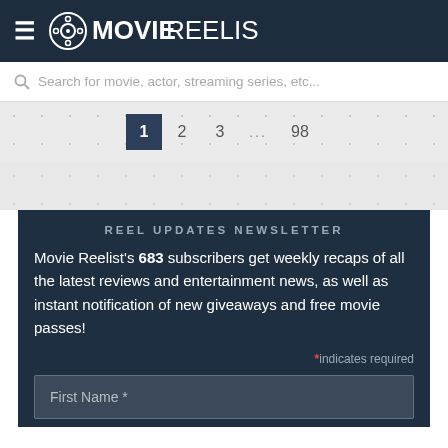MOVIEREELIST
Search for movie, actor, streaming series, etc...
1  2  3  ...  98
REEL UPDATES NEWSLETTER
Movie Reelist's 683 subscribers get weekly recaps of all the latest reviews and entertainment news, as well as instant notification of new giveaways and free movie passes!
* indicates required
First Name *